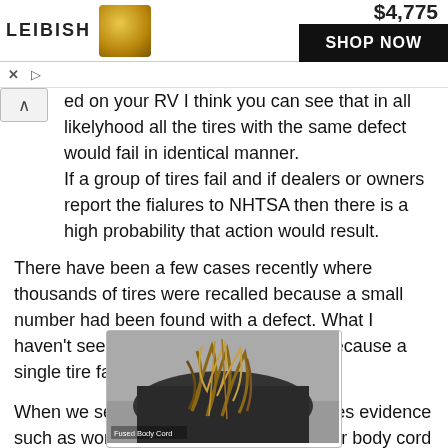[Figure (other): Advertisement banner showing a product priced at $4,775 with a SHOP NOW button]
ed on your RV I think you can see that in all likelyhood all the tires with the same defect would fail in identical manner.
If a group of tires fail and if dealers or owners report the fialures to NHTSA then there is a high probability that action would result.
There have been a few cases recently where thousands of tires were recalled because a small number had been found with a defect. What I haven't seen or heard about is a recall because a single tire failed.
When we see a single tire fail and it leaves evidence such as worn sidewall or melted polyester body cord
[Figure (photo): Close-up photo of a damaged/shredded tire showing fused body cord, with caption 'Fused Body Cord']